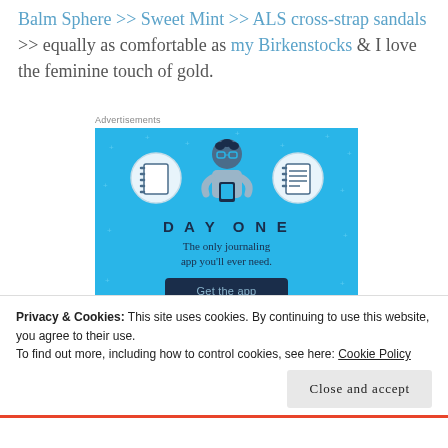Balm Sphere >> Sweet Mint >> ALS cross-strap sandals >> equally as comfortable as my Birkenstocks & I love the feminine touch of gold.
Advertisements
[Figure (illustration): Day One journaling app advertisement on blue background with illustrated person holding phone and two notebook icons, tagline 'The only journaling app you'll ever need.' and 'Get the app' button.]
Privacy & Cookies: This site uses cookies. By continuing to use this website, you agree to their use.
To find out more, including how to control cookies, see here: Cookie Policy
Close and accept